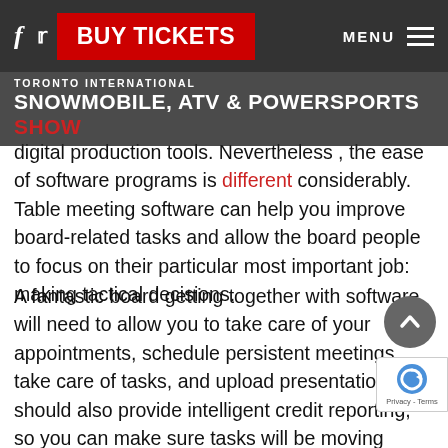f  [twitter icon]  BUY TICKETS  MENU [hamburger]
TORONTO INTERNATIONAL
SNOWMOBILE, ATV & POWERSPORTS SHOW
digital production tools. Nevertheless , the ease of software programs is different considerably. Table meeting software can help you improve board-related tasks and allow the board people to focus on their particular most important job: making tactical decisions.
A fantastic board getting together with software will need to allow you to take care of your appointments, schedule persistent meetings, take care of tasks, and upload presentations. It should also provide intelligent credit reporting, so you can make sure tasks will be moving forward. Plank meeting software program should also permit you to schedule gatherings with a just click, make meeting summaries, and add polls. That way, you